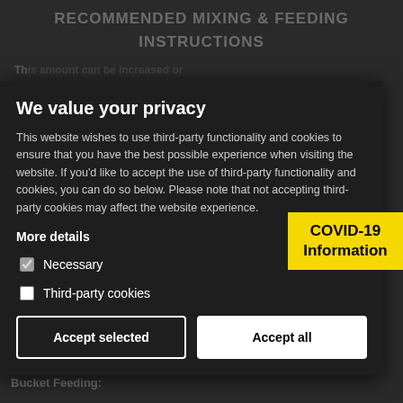RECOMMENDED MIXING & FEEDING INSTRUCTIONS
This website wishes to use third-party functionality and cookies to ensure that you have the best possible experience when visiting the website. If you'd like to accept the use of third-party functionality and cookies, you can do so below. Please note that not accepting third-party cookies may affect the website experience.
decreased proportionately depending on the rearing
More details
owth rate required. Please note every feeding system is different with the feeding schedule
Necessary
Third-party cookies
Accept selected
Accept all
[Figure (other): COVID-19 Information badge in yellow]
To ensure optimum milk replacer performance a minimum of 1256 of water within every litre of water.
Bucket Feeding: